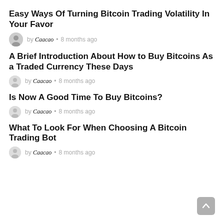Easy Ways Of Turning Bitcoin Trading Volatility In Your Favor
by Caacao • 8 months ago
A Brief Introduction About How to Buy Bitcoins As a Traded Currency These Days
by Caacao • 8 months ago
Is Now A Good Time To Buy Bitcoins?
by Caacao • 8 months ago
What To Look For When Choosing A Bitcoin Trading Bot
by Caacao • 8 months ago